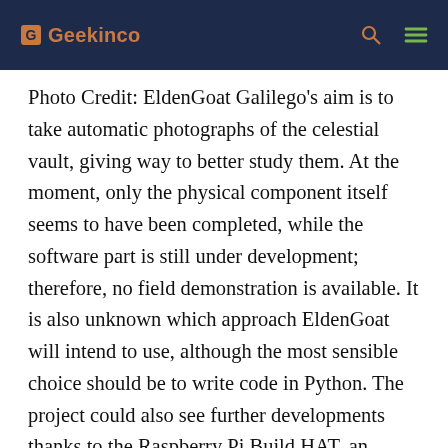Geekinco
Photo Credit: EldenGoat Galilego's aim is to take automatic photographs of the celestial vault, giving way to better study them. At the moment, only the physical component itself seems to have been completed, while the software part is still under development; therefore, no field demonstration is available. It is also unknown which approach EldenGoat will intend to use, although the most sensible choice should be to write code in Python. The project could also see further developments thanks to the Raspberry Pi Build HAT, an interface board for LEGO